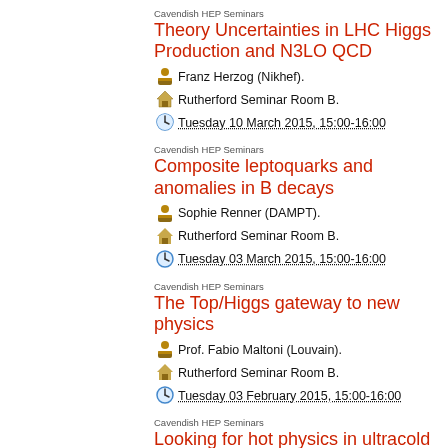Cavendish HEP Seminars
Theory Uncertainties in LHC Higgs Production and N3LO QCD
Franz Herzog (Nikhef).
Rutherford Seminar Room B.
Tuesday 10 March 2015, 15:00-16:00
Cavendish HEP Seminars
Composite leptoquarks and anomalies in B decays
Sophie Renner (DAMPT).
Rutherford Seminar Room B.
Tuesday 03 March 2015, 15:00-16:00
Cavendish HEP Seminars
The Top/Higgs gateway to new physics
Prof. Fabio Maltoni (Louvain).
Rutherford Seminar Room B.
Tuesday 03 February 2015, 15:00-16:00
Cavendish HEP Seminars
Looking for hot physics in ultracold places
Kevin Peter Hickerson (UCLA).
Rutherford Seminar Room B.